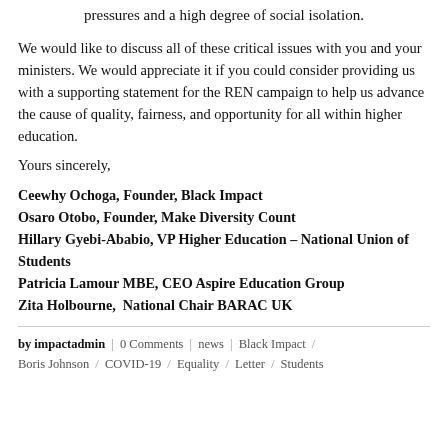pressures and a high degree of social isolation.
We would like to discuss all of these critical issues with you and your ministers. We would appreciate it if you could consider providing us with a supporting statement for the REN campaign to help us advance the cause of quality, fairness, and opportunity for all within higher education.
Yours sincerely,
Ceewhy Ochoga, Founder, Black Impact
Osaro Otobo, Founder, Make Diversity Count
Hillary Gyebi-Ababio, VP Higher Education – National Union of Students
Patricia Lamour MBE, CEO Aspire Education Group
Zita Holbourne,  National Chair BARAC UK
by impactadmin | 0 Comments | news | Black Impact / Boris Johnson / COVID-19 / Equality / Letter / Students